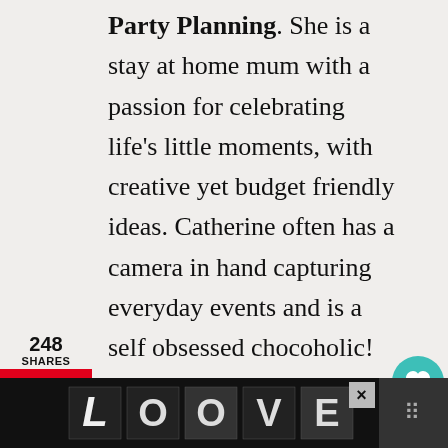Party Planning. She is a stay at home mum with a passion for celebrating life's little moments, with creative yet budget friendly ideas. Catherine often has a camera in hand capturing everyday events and is a self obsessed chocoholic! She loves connecting with other mum's on the blog and sharing party planning tips and tricks. Get all
[Figure (infographic): Social sharing sidebar with Pinterest (red), Facebook (dark blue), Twitter (light blue) buttons and share count of 248]
[Figure (infographic): Right side floating buttons: teal heart button, count 249, share icon]
[Figure (infographic): Bottom advertisement bar with LOVE text logo in decorative black and white style, close X button, and right panel with dots icon]